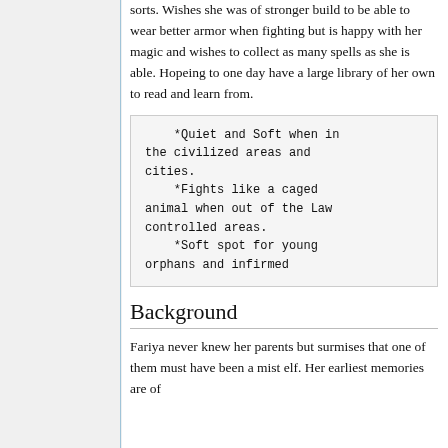sorts. Wishes she was of stronger build to be able to wear better armor when fighting but is happy with her magic and wishes to collect as many spells as she is able. Hopeing to one day have a large library of her own to read and learn from.
*Quiet and Soft when in the civilized areas and cities.
    *Fights like a caged animal when out of the Law controlled areas.
    *Soft spot for young orphans and infirmed
Background
Fariya never knew her parents but surmises that one of them must have been a mist elf. Her earliest memories are of ...